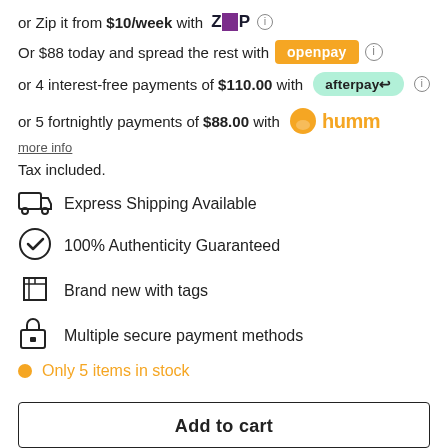or Zip it from $10/week with ZIP [logo] [info]
Or $88 today and spread the rest with openpay [info]
or 4 interest-free payments of $110.00 with afterpay [info]
or 5 fortnightly payments of $88.00 with humm
more info
Tax included.
Express Shipping Available
100% Authenticity Guaranteed
Brand new with tags
Multiple secure payment methods
Only 5 items in stock
Add to cart